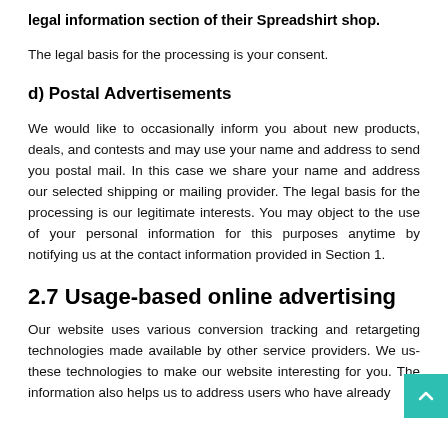legal information section of their Spreadshirt shop.
The legal basis for the processing is your consent.
d) Postal Advertisements
We would like to occasionally inform you about new products, deals, and contests and may use your name and address to send you postal mail. In this case we share your name and address our selected shipping or mailing provider. The legal basis for the processing is our legitimate interests. You may object to the use of your personal information for this purposes anytime by notifying us at the contact information provided in Section 1.
2.7 Usage-based online advertising
Our website uses various conversion tracking and retargeting technologies made available by other service providers. We use these technologies to make our website interesting for you. The information also helps us to address users who have already